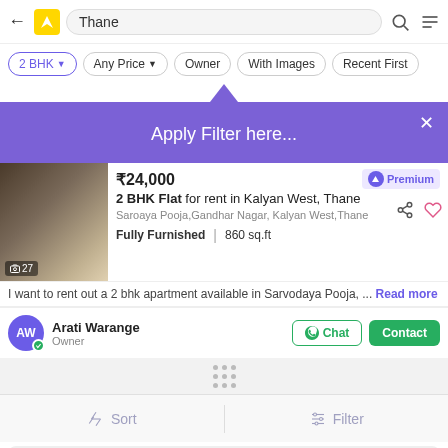Thane — search bar with back arrow, logo, search icon, menu
2 BHK filter pill (active)
Any Price filter pill
Owner filter pill
With Images filter pill
Recent First filter pill
[Figure (screenshot): Purple tooltip popup with text 'Apply Filter here...' and a close X button]
₹24,000 — 2 BHK Flat for rent in Kalyan West, Thane
Saroaya Pooja, Gandhar Nagar, Kalyan West, Thane
Fully Furnished | 860 sq.ft
I want to rent out a 2 bhk apartment available in Sarvodaya Pooja, ... Read more
Arati Warange — Owner — Chat — Contact